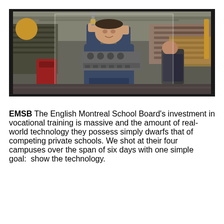[Figure (photo): A mechanic/student in a workshop holding a screwdriver over an engine block (cylinder head), smiling. Another person is visible working in the background. The workshop has shelving and automotive equipment. The image has a dark decorative border with gold/yellow circle and rectangle accents on left and right sides.]
EMSB The English Montreal School Board's investment in vocational training is massive and the amount of real-world technology they possess simply dwarfs that of competing private schools. We shot at their four campuses over the span of six days with one simple goal:  show the technology.